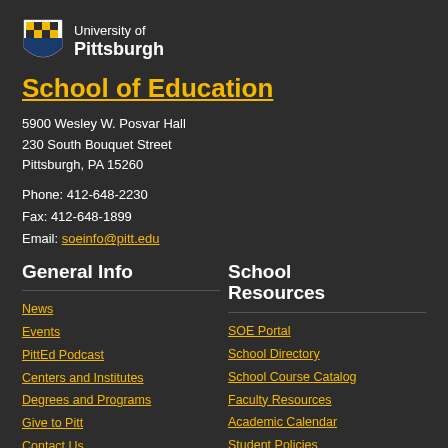[Figure (logo): University of Pittsburgh shield logo with checkered pattern]
University of Pittsburgh
School of Education
5900 Wesley W. Posvar Hall
230 South Bouquet Street
Pittsburgh, PA 15260
Phone: 412-648-2230
Fax: 412-648-1899
Email: soeinfo@pitt.edu
General Info
News
Events
PittEd Podcast
Centers and Institutes
Degrees and Programs
Give to Pitt
Contact Us
School Resources
SOE Portal
School Directory
School Course Catalog
Faculty Resources
Academic Calendar
Student Policies
Act 48/45 Information